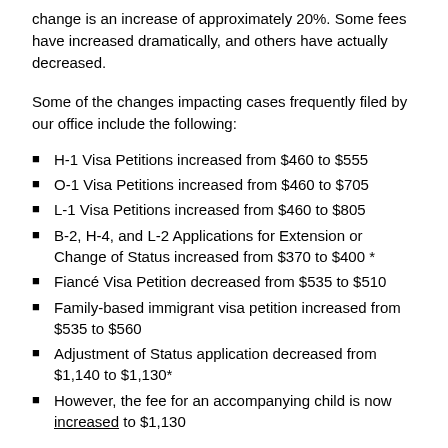change is an increase of approximately 20%. Some fees have increased dramatically, and others have actually decreased.
Some of the changes impacting cases frequently filed by our office include the following:
H-1 Visa Petitions increased from $460 to $555
O-1 Visa Petitions increased from $460 to $705
L-1 Visa Petitions increased from $460 to $805
B-2, H-4, and L-2 Applications for Extension or Change of Status increased from $370 to $400 *
Fiancé Visa Petition decreased from $535 to $510
Family-based immigrant visa petition increased from $535 to $560
Adjustment of Status application decreased from $1,140 to $1,130*
However, the fee for an accompanying child is now increased to $1,130